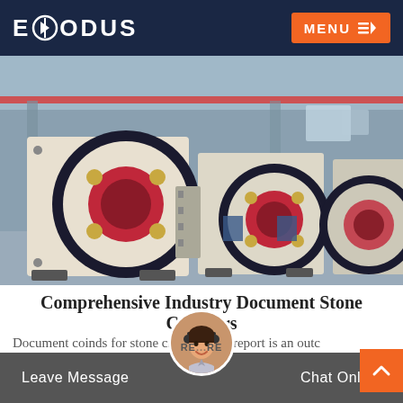EXODUS MENU
[Figure (photo): Industrial jaw crushers with large black and red flywheels arranged in a factory/warehouse setting. Multiple units visible in a row, cream/beige colored with distinctive circular flywheel discs.]
Comprehensive Industry Document Stone Crushers
Document coinds for stone crushers this report is an outc of the indepth studies carri npc jointly with cpcb
Leave Message   RE...RE   Chat Online